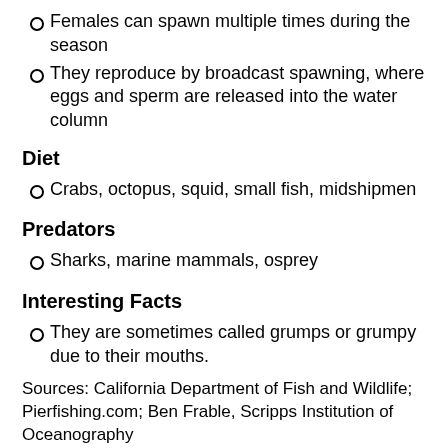Females can spawn multiple times during the season
They reproduce by broadcast spawning, where eggs and sperm are released into the water column
Diet
Crabs, octopus, squid, small fish, midshipmen
Predators
Sharks, marine mammals, osprey
Interesting Facts
They are sometimes called grumps or grumpy due to their mouths.
Sources: California Department of Fish and Wildlife; Pierfishing.com; Ben Frable, Scripps Institution of Oceanography